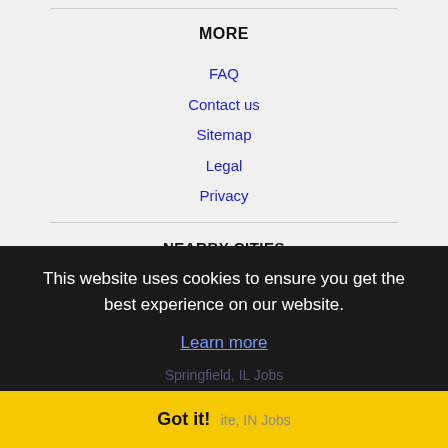MORE
FAQ
Contact us
Sitemap
Legal
Privacy
NEARBY CITIES
Bloomington, IL Jobs
This website uses cookies to ensure you get the best experience on our website.
Learn more
Springfield, IL Jobs
Got it!
ite, IN Jobs